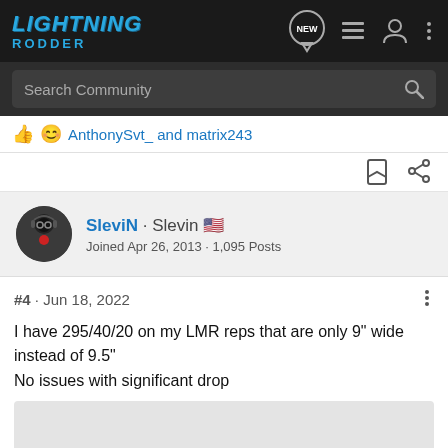Lightning Rodder
Search Community
AnthonySvt_ and matrix243
SleviN · Slevin 🇺🇸
Joined Apr 26, 2013 · 1,095 Posts
#4 · Jun 18, 2022
I have 295/40/20 on my LMR reps that are only 9" wide instead of 9.5"
No issues with significant drop
[Figure (photo): Partially visible image at bottom of page]